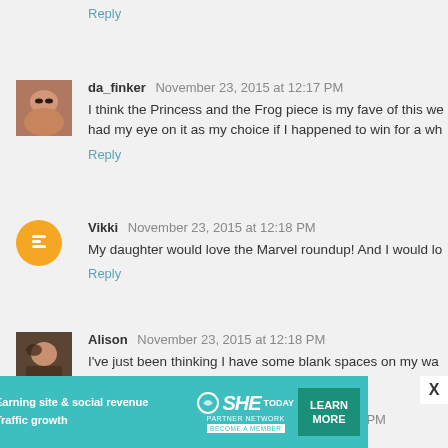Reply
da_finker November 23, 2015 at 12:17 PM — I think the Princess and the Frog piece is my fave of this we... had my eye on it as my choice if I happened to win for a wh...
Reply
Vikki November 23, 2015 at 12:18 PM — My daughter would love the Marvel roundup! And I would lo...
Reply
Alison November 23, 2015 at 12:18 PM — I've just been thinking I have some blank spaces on my wa... giveaway board :D.
Reply
Lindley Chesser November 23, 2015 at 12:19 PM
[Figure (infographic): SHE Partner Network advertisement banner with teal background, a woman photo, bullet points 'Earning site & social revenue' and 'Traffic growth', SHE logo, and LEARN MORE button]